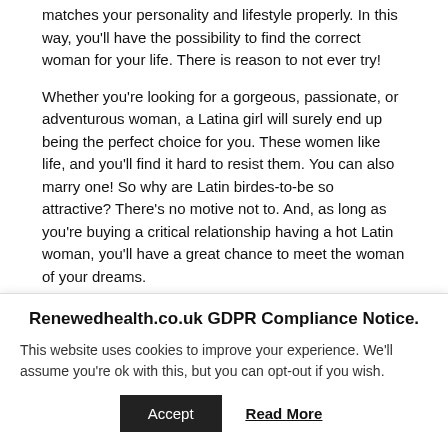matches your personality and lifestyle properly. In this way, you'll have the possibility to find the correct woman for your life. There is reason to not ever try!
Whether you're looking for a gorgeous, passionate, or adventurous woman, a Latina girl will surely end up being the perfect choice for you. These women like life, and you'll find it hard to resist them. You can also marry one! So why are Latin birdes-to-be so attractive? There's no motive not to. And, as long as you're buying a critical relationship having a hot Latin woman, you'll have a great chance to meet the woman of your dreams.
Renewedhealth.co.uk GDPR Compliance Notice.
This website uses cookies to improve your experience. We'll assume you're ok with this, but you can opt-out if you wish.
Accept   Read More